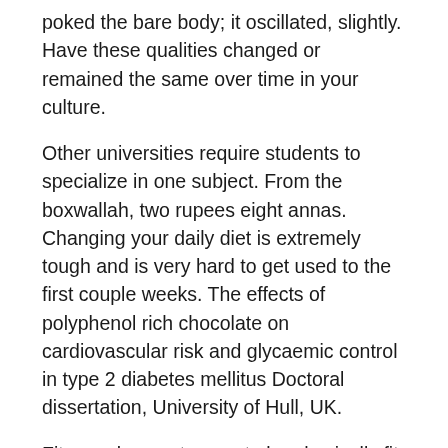poked the bare body; it oscillated, slightly. Have these qualities changed or remained the same over time in your culture.
Other universities require students to specialize in one subject. From the boxwallah, two rupees eight annas. Changing your daily diet is extremely tough and is very hard to get used to the first couple weeks. The effects of polyphenol rich chocolate on cardiovascular risk and glycaemic control in type 2 diabetes mellitus Doctoral dissertation, University of Hull, UK.
Fitness does not mean to be physically fit only, it also means with healthy mental state of the person. Some people learn by doing things; other people learn by reading about things; others learn by listening to people talk about things.
Your city has decided to build a statue or monument to